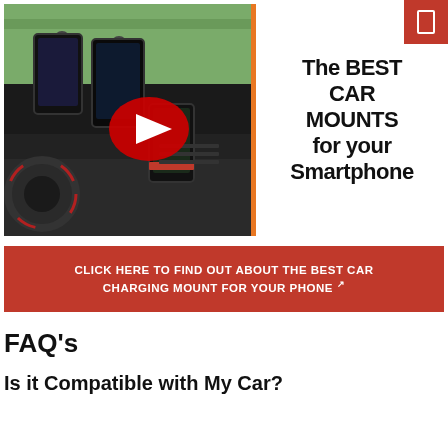[Figure (photo): Photo of multiple smartphones in car mounts on a car dashboard, with a YouTube play button overlay. Text beside image reads: The BEST CAR MOUNTS for your Smartphone]
CLICK HERE TO FIND OUT ABOUT THE BEST CAR CHARGING MOUNT FOR YOUR PHONE
FAQ's
Is it Compatible with My Car?